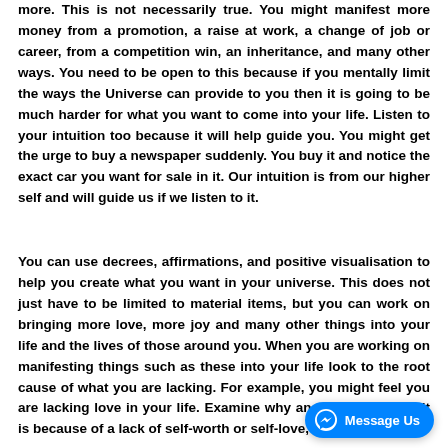more. This is not necessarily true. You might manifest more money from a promotion, a raise at work, a change of job or career, from a competition win, an inheritance, and many other ways. You need to be open to this because if you mentally limit the ways the Universe can provide to you then it is going to be much harder for what you want to come into your life. Listen to your intuition too because it will help guide you. You might get the urge to buy a newspaper suddenly. You buy it and notice the exact car you want for sale in it. Our intuition is from our higher self and will guide us if we listen to it.
You can use decrees, affirmations, and positive visualisation to help you create what you want in your universe. This does not just have to be limited to material items, but you can work on bringing more love, more joy and many other things into your life and the lives of those around you. When you are working on manifesting things such as these into your life look to the root cause of what you are lacking. For example, you might feel you are lacking love in your life. Examine why and you might see it is because of a lack of self-worth or self-love, or
[Figure (other): Facebook Messenger 'Message Us' button overlay in bottom right corner]